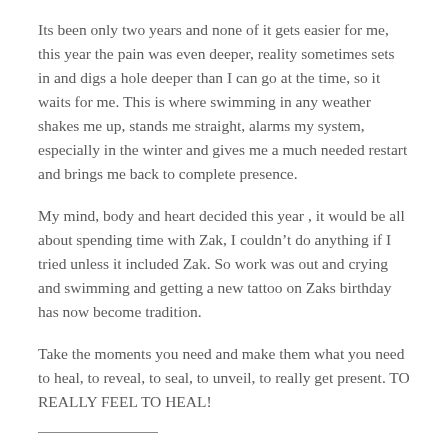Its been only two years and none of it gets easier for me, this year the pain was even deeper, reality sometimes sets in and digs a hole deeper than I can go at the time, so it waits for me. This is where swimming in any weather shakes me up, stands me straight, alarms my system, especially in the winter and gives me a much needed restart and brings me back to complete presence.
My mind, body and heart decided this year , it would be all about spending time with Zak, I couldn't do anything if I tried unless it included Zak. So work was out and crying and swimming and getting a new tattoo on Zaks birthday has now become tradition.
Take the moments you need and make them what you need to heal, to reveal, to seal, to unveil, to really get present. TO REALLY FEEL TO HEAL!